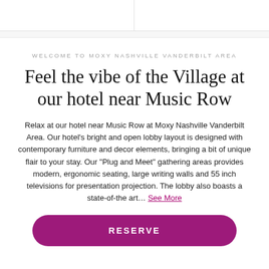WELCOME TO MOXY NASHVILLE VANDERBILT AREA
Feel the vibe of the Village at our hotel near Music Row
Relax at our hotel near Music Row at Moxy Nashville Vanderbilt Area. Our hotel's bright and open lobby layout is designed with contemporary furniture and decor elements, bringing a bit of unique flair to your stay. Our "Plug and Meet" gathering areas provides modern, ergonomic seating, large writing walls and 55 inch televisions for presentation projection. The lobby also boasts a state-of-the art... See More
RESERVE